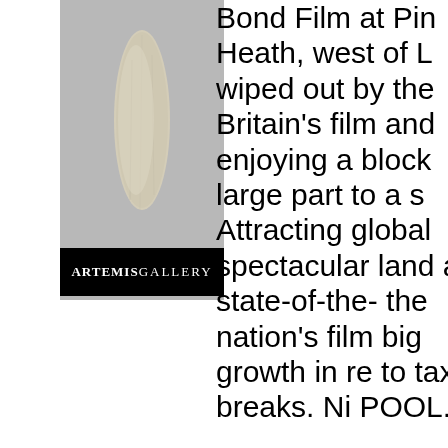[Figure (photo): A light-colored elongated stone artifact (possibly a bone or flint) photographed against a gray background, with an Artemis Gallery logo banner at the bottom showing 'ARTEMISGALLERY' text in white on black background.]
Bond Film at Pin Heath, west of L wiped out by the Britain's film and enjoying a block large part to a s Attracting global spectacular land and state-of-the- the nation's film big growth in re to tax breaks. N POOL.